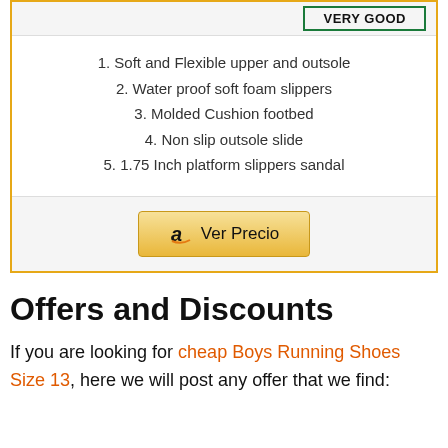1. Soft and Flexible upper and outsole
2. Water proof soft foam slippers
3. Molded Cushion footbed
4. Non slip outsole slide
5. 1.75 Inch platform slippers sandal
Ver Precio (Amazon button)
Offers and Discounts
If you are looking for cheap Boys Running Shoes Size 13, here we will post any offer that we find: